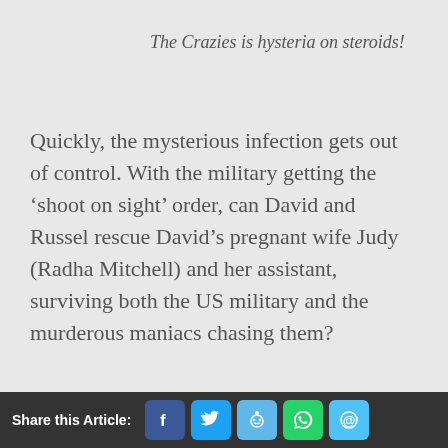The Crazies is hysteria on steroids!
Quickly, the mysterious infection gets out of control. With the military getting the ‘shoot on sight’ order, can David and Russel rescue David’s pregnant wife Judy (Radha Mitchell) and her assistant, surviving both the US military and the murderous maniacs chasing them?
We confidently claim this modern
Share this Article: